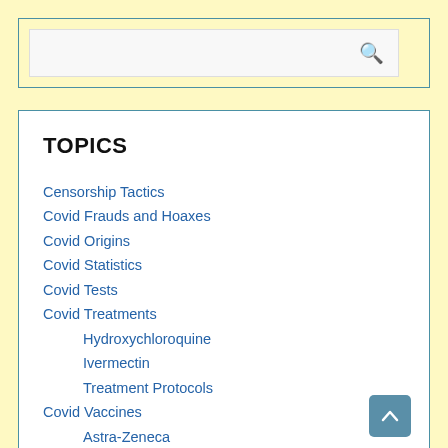[Figure (screenshot): Search box with magnifying glass icon on yellow background]
TOPICS
Censorship Tactics
Covid Frauds and Hoaxes
Covid Origins
Covid Statistics
Covid Tests
Covid Treatments
Hydroxychloroquine
Ivermectin
Treatment Protocols
Covid Vaccines
Astra-Zeneca
Boosters